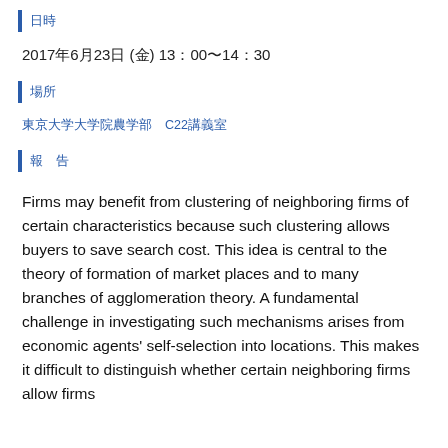日時
2017年6月23日 (金) 13：00〜14：30
場所
東京大学大学院農学部　C22講義室
報 告
Firms may benefit from clustering of neighboring firms of certain characteristics because such clustering allows buyers to save search cost. This idea is central to the theory of formation of market places and to many branches of agglomeration theory. A fundamental challenge in investigating such mechanisms arises from economic agents' self-selection into locations. This makes it difficult to distinguish whether certain neighboring firms allow firms